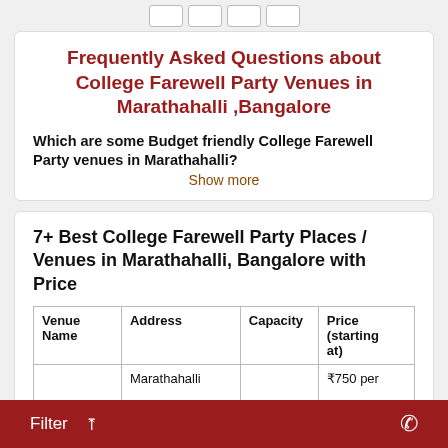[Figure (other): Navigation pagination buttons at top of page]
Frequently Asked Questions about College Farewell Party Venues in Marathahalli ,Bangalore
Which are some Budget friendly College Farewell Party venues in Marathahalli?
Show more
7+ Best College Farewell Party Places / Venues in Marathahalli, Bangalore with Price
| Venue Name | Address | Capacity | Price (starting at) |
| --- | --- | --- | --- |
|  | Marathahalli |  | ₹750 per |
Filter  ∧